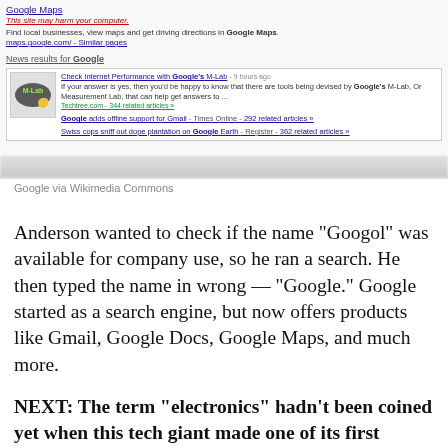[Figure (screenshot): Google search results screenshot showing Google Maps listing with 'This site may harm your computer.' warning, news results section with M-Lab logo image, articles about Google's M-Lab, Google adds offline support for Gmail, and Swiss cops sniff out dope plantation on Google Earth]
Google via Wikimedia Commons
Anderson wanted to check if the name “Googol” was available for company use, so he ran a search. He then typed the name in wrong — “Google.” Google started as a search engine, but now offers products like Gmail, Google Docs, Google Maps, and much more.
NEXT: The term “electronics” hadn’t been coined yet when this tech giant made one of its first products.